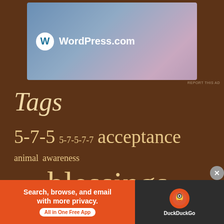[Figure (screenshot): WordPress.com advertisement banner with gradient blue/purple background and WordPress logo]
REPORT THIS AD
Tags
5-7-5  5-7-5-7-7  acceptance  animal  awareness  blessing  blessings  Bob  cat  compassion  family  flower  flowers  free verse  friend  friendship  grateful  haiku  happy  heart  home  indonesia  journey  kindness  loving  l...  life  love
[Figure (screenshot): DuckDuckGo advertisement: Search, browse, and email with more privacy. All in One Free App]